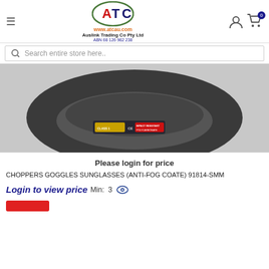[Figure (logo): ATC logo oval with red A and white TC letters, Auslink Trading Co Pty Ltd header with www.atcau.com and ABN 68 126 982 238]
[Figure (photo): Close-up photo of dark safety goggles/sunglasses showing lens with certification stickers including CE mark and IMPACT RESISTANT POLYCARBONATE label]
Please login for price
CHOPPERS GOGGLES SUNGLASSES (ANTI-FOG COATE) 91814-SMM
Login to view price  Min:  3